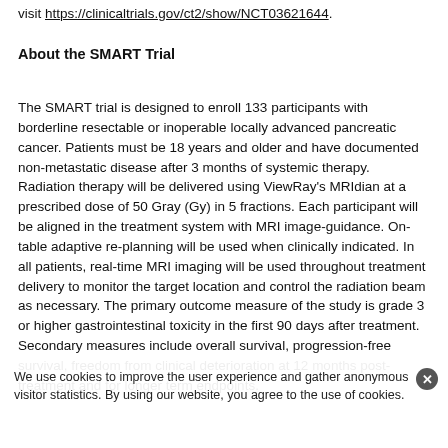visit https://clinicaltrials.gov/ct2/show/NCT03621644.
About the SMART Trial
The SMART trial is designed to enroll 133 participants with borderline resectable or inoperable locally advanced pancreatic cancer. Patients must be 18 years and older and have documented non-metastatic disease after 3 months of systemic therapy. Radiation therapy will be delivered using ViewRay's MRIdian at a prescribed dose of 50 Gray (Gy) in 5 fractions. Each participant will be aligned in the treatment system with MRI image-guidance. On-table adaptive re-planning will be used when clinically indicated. In all patients, real-time MRI imaging will be used throughout treatment delivery to monitor the target location and control the radiation beam as necessary. The primary outcome measure of the study is grade 3 or higher gastrointestinal toxicity in the first 90 days after treatment. Secondary measures include overall survival, progression-free survival, freedom from clinical deterioration at 12 months post-treatment and for longer term endpoints.
We use cookies to improve the user experience and gather anonymous visitor statistics. By using our website, you agree to the use of cookies.